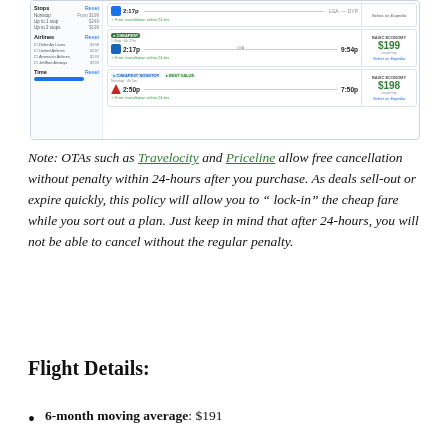[Figure (screenshot): Screenshot of an online travel agency (OTA) flight search results page showing flight listings with filters on the left (Stops, Airlines, Time) and flight results on the right with prices, badges like 'CHEAPEST' and 'BEST VALUE', and basic economy fares around $199.]
Note: OTAs such as Travelocity and Priceline allow free cancellation without penalty within 24-hours after you purchase. As deals sell-out or expire quickly, this policy will allow you to “ lock-in” the cheap fare while you sort out a plan. Just keep in mind that after 24-hours, you will not be able to cancel without the regular penalty.
Flight Details:
6-month moving average: $191